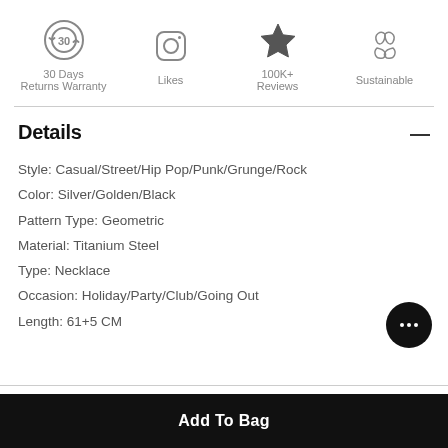[Figure (infographic): Four trust/social proof icons in a row: 30 Days Returns Warranty (circular arrow with 30), Likes (Instagram camera icon), 100K+ Reviews (star icon), Sustainable (recycling leaves icon)]
Details
Style: Casual/Street/Hip Pop/Punk/Grunge/Rock
Color: Silver/Golden/Black
Pattern Type: Geometric
Material: Titanium Steel
Type: Necklace
Occasion: Holiday/Party/Club/Going Out
Length: 61+5 CM
Add To Bag